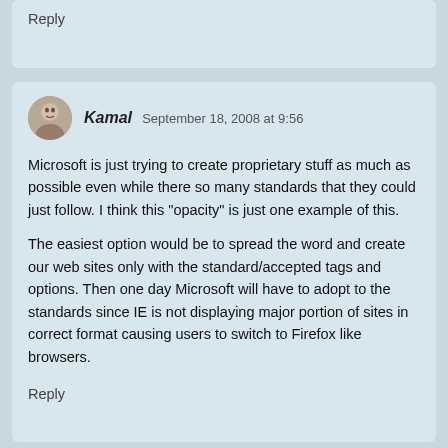Reply
Kamal  September 18, 2008 at 9:56
Microsoft is just trying to create proprietary stuff as much as possible even while there so many standards that they could just follow. I think this "opacity" is just one example of this.

The easiest option would be to spread the word and create our web sites only with the standard/accepted tags and options. Then one day Microsoft will have to adopt to the standards since IE is not displaying major portion of sites in correct format causing users to switch to Firefox like browsers.
Reply